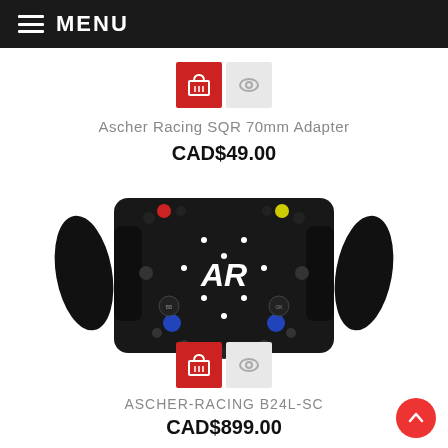MENU
[Figure (other): Red shopping cart button and grey eye/preview button icons]
Ascher Racing SQR 70mm Adapter
CAD$49.00
[Figure (photo): Black Ascher Racing steering wheel with AR logo, colored buttons (red, blue, yellow), paddle shifters on left and right sides]
[Figure (other): Red shopping cart button and grey eye/preview button icons]
ASCHER-RACING B24L-SC
CAD$899.00